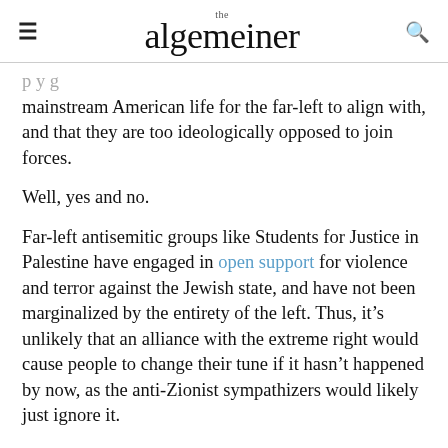the algemeiner
mainstream American life for the far-left to align with, and that they are too ideologically opposed to join forces.
Well, yes and no.
Far-left antisemitic groups like Students for Justice in Palestine have engaged in open support for violence and terror against the Jewish state, and have not been marginalized by the entirety of the left. Thus, it’s unlikely that an alliance with the extreme right would cause people to change their tune if it hasn’t happened by now, as the anti-Zionist sympathizers would likely just ignore it.
Likewise, ideological opponents have long